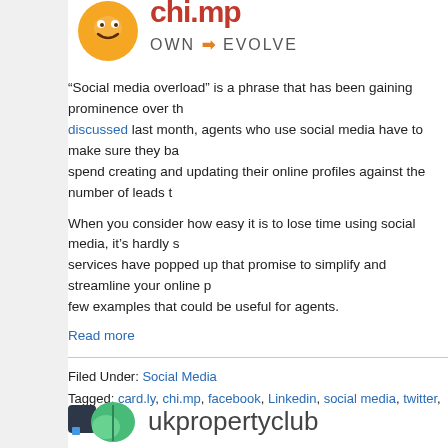[Figure (logo): chi.mp OWN > EVOLVE logo with orange mascot icon]
“Social media overload” is a phrase that has been gaining prominence over th… discussed last month, agents who use social media have to make sure they ba… spend creating and updating their online profiles against the number of leads t…
When you consider how easy it is to lose time using social media, it’s hardly s… services have popped up that promise to simplify and streamline your online p… few examples that could be useful for agents.
Read more
Filed Under: Social Media
Tagged: card.ly, chi.mp, facebook, Linkedin, social media, twitter, unhub.com
New Social Networks for UK Buyers and…
July 23, 2009 by Alice Allan · Leave a Comment
[Figure (logo): ukpropertyclub logo with green leaf and dark square icon]